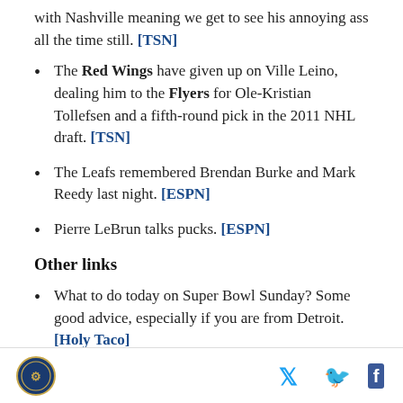with Nashville meaning we get to see his annoying ass all the time still. [TSN]
The Red Wings have given up on Ville Leino, dealing him to the Flyers for Ole-Kristian Tollefsen and a fifth-round pick in the 2011 NHL draft. [TSN]
The Leafs remembered Brendan Burke and Mark Reedy last night. [ESPN]
Pierre LeBrun talks pucks. [ESPN]
Other links
What to do today on Super Bowl Sunday? Some good advice, especially if you are from Detroit. [Holy Taco]
Logo | Twitter | Facebook